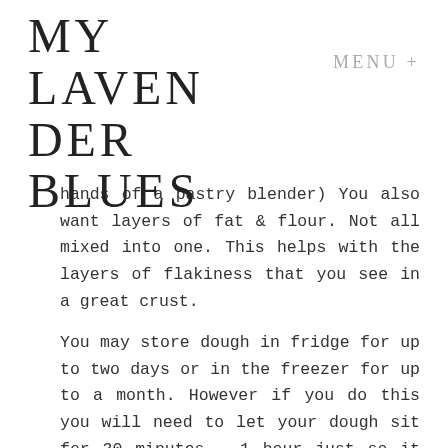MY LAVENDER BLUES
hands of a pastry blender) You also want layers of fat & flour. Not all mixed into one. This helps with the layers of flakiness that you see in a great crust.
You may store dough in fridge for up to two days or in the freezer for up to a month. However if you do this you will need to let your dough sit for 30 minutes – 1 hour just so it is still cold, but soft enough for you to roll out.